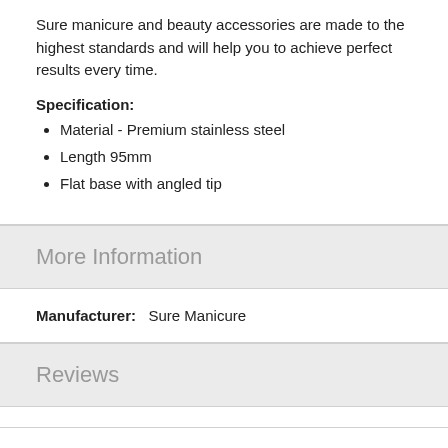Sure manicure and beauty accessories are made to the highest standards and will help you to achieve perfect results every time.
Specification:
Material - Premium stainless steel
Length 95mm
Flat base with angled tip
More Information
Manufacturer:   Sure Manicure
Reviews